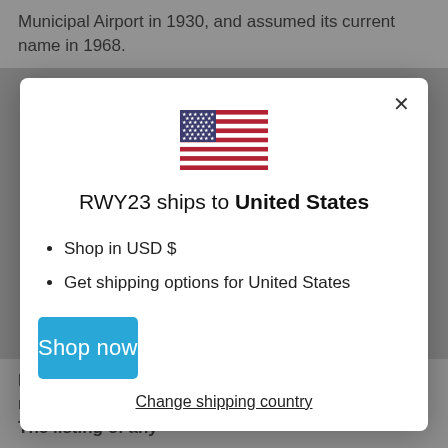Municipal Airport in 1930, and assumed its current name in 1968.
[Figure (screenshot): Modal dialog showing RWY23 ships to United States with US flag, bullet points for USD and shipping options, a Shop now button, and a Change shipping country link]
brand names, logos and trademarks used herein remain the property of their respective owners. The listing of any